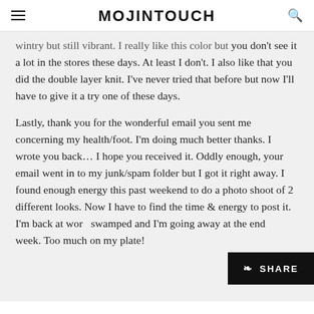MOJINTOUCH
wintry but still vibrant. I really like this color but you don't see it a lot in the stores these days. At least I don't. I also like that you did the double layer knit. I've never tried that before but now I'll have to give it a try one of these days.
Lastly, thank you for the wonderful email you sent me concerning my health/foot. I'm doing much better thanks. I wrote you back… I hope you received it. Oddly enough, your email went in to my junk/spam folder but I got it right away. I found enough energy this past weekend to do a photo shoot of 2 different looks. Now I have to find the time & energy to post it. I'm back at work swamped and I'm going away at the end of the week. Too much on my plate!